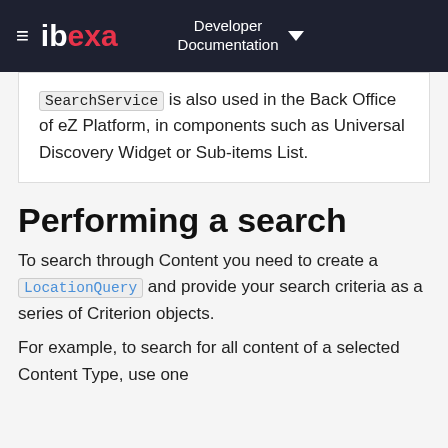ibeka Developer Documentation
SearchService is also used in the Back Office of eZ Platform, in components such as Universal Discovery Widget or Sub-items List.
Performing a search
To search through Content you need to create a LocationQuery and provide your search criteria as a series of Criterion objects.
For example, to search for all content of a selected Content Type, use one